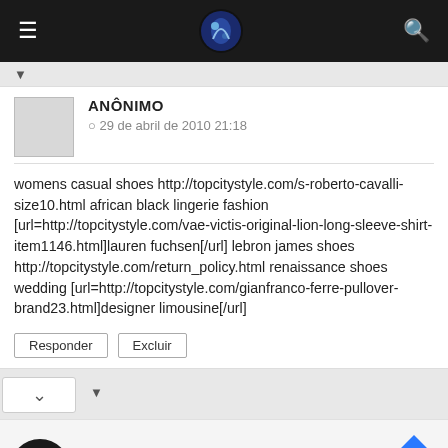Navigation bar with hamburger menu, logo, and search icon
▼
ANÔNIMO
⊙ 29 de abril de 2010 21:18
womens casual shoes http://topcitystyle.com/s-roberto-cavalli-size10.html african black lingerie fashion [url=http://topcitystyle.com/vae-victis-original-lion-long-sleeve-shirt-item1146.html]lauren fuchsen[/url] lebron james shoes http://topcitystyle.com/return_policy.html renaissance shoes wedding [url=http://topcitystyle.com/gianfranco-ferre-pullover-brand23.html]designer limousine[/url]
Responder   Excluir
▼
[Figure (screenshot): Advertisement banner with circular logo, checkmark, 'In-store shopping' text, and blue diamond navigation icon]